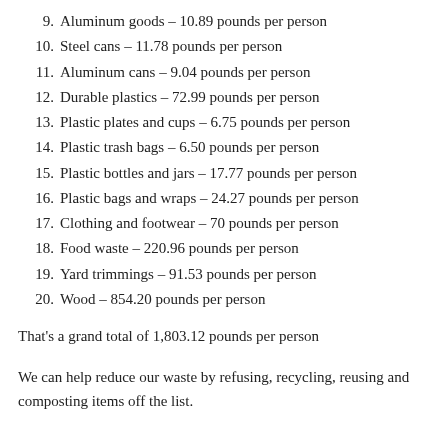9. Aluminum goods – 10.89 pounds per person
10. Steel cans – 11.78 pounds per person
11. Aluminum cans – 9.04 pounds per person
12. Durable plastics – 72.99 pounds per person
13. Plastic plates and cups – 6.75 pounds per person
14. Plastic trash bags – 6.50 pounds per person
15. Plastic bottles and jars – 17.77 pounds per person
16. Plastic bags and wraps – 24.27 pounds per person
17. Clothing and footwear – 70 pounds per person
18. Food waste – 220.96 pounds per person
19. Yard trimmings – 91.53 pounds per person
20. Wood – 854.20 pounds per person
That's a grand total of 1,803.12 pounds per person
We can help reduce our waste by refusing, recycling, reusing and composting items off the list.